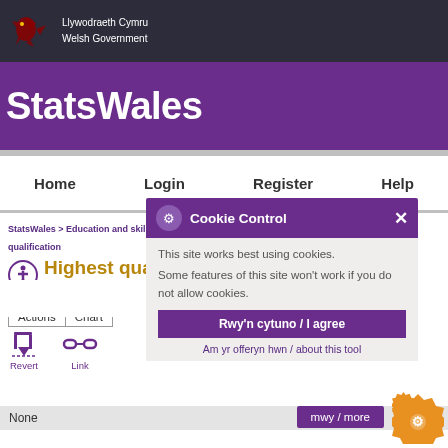Llywodraeth Cymru Welsh Government
StatsWales
Home | Login | Register | Help
StatsWales > Education and skills > Post 16 education and training > Lifelong learning and qualification
Highest qualification levels of workers and qualification
[Figure (screenshot): Cookie Control popup dialog on StatsWales website with purple header showing gear icon and 'Cookie Control' title with X close button, body text 'This site works best using cookies. Some features of this site won't work if you do not allow cookies.' and purple 'Rwy'n cytuno / I agree' button and 'Am yr offeryn hwn / about this tool' link]
Actions | Chart
Revert | Link | Export | Print | Full Screen
None
mwy / more